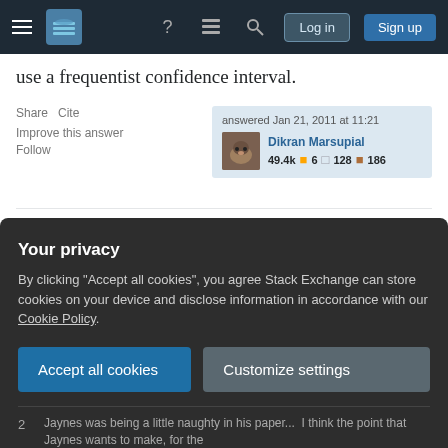Stack Exchange navigation bar with login and sign up buttons
use a frequentist confidence interval.
Share  Cite
Improve this answer
Follow
answered Jan 21, 2011 at 11:21
Dikran Marsupial
49.4k  6  128  186
2  Well said, especially about what question a CI actually answers. In the Jaynes' article however, he does mention that CI's (and most frequentist procedures) are designed to work well "In the long-run" (e.g. how often do you see n → ∞ or "for large n the distribution is approximately..." assumptions in frequentist methods?), but there are many such
Your privacy
By clicking "Accept all cookies", you agree Stack Exchange can store cookies on your device and disclose information in accordance with our Cookie Policy.
Accept all cookies   Customize settings
2  Jaynes was being a little naughty in his paper...  I think the point that Jaynes wants to make, for the